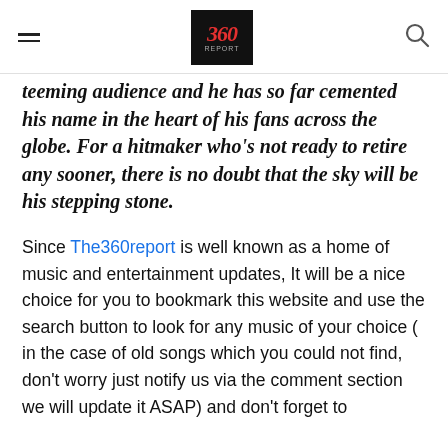[hamburger menu] [360report logo] [search icon]
teeming audience and he has so far cemented his name in the heart of his fans across the globe. For a hitmaker who's not ready to retire any sooner, there is no doubt that the sky will be his stepping stone.
Since The360report is well known as a home of music and entertainment updates, It will be a nice choice for you to bookmark this website and use the search button to look for any music of your choice ( in the case of old songs which you could not find, don't worry just notify us via the comment section we will update it ASAP) and don't forget to